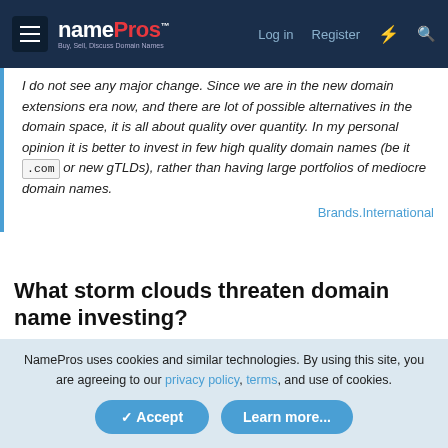namePros - Buy, Sell, Discuss Domain Names | Log in | Register
I do not see any major change. Since we are in the new domain extensions era now, and there are lot of possible alternatives in the domain space, it is all about quality over quantity. In my personal opinion it is better to invest in few high quality domain names (be it .com or new gTLDs), rather than having large portfolios of mediocre domain names. Brands.International
What storm clouds threaten domain name investing?
Brad Mugford said:
One of the biggest issues is ICANN itself and their revolving door.
NamePros uses cookies and similar technologies. By using this site, you are agreeing to our privacy policy, terms, and use of cookies.